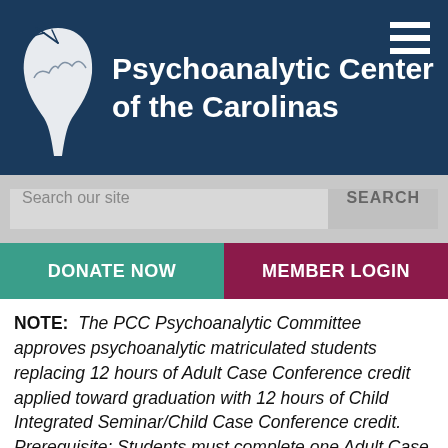[Figure (logo): Psychoanalytic Center of the Carolinas logo — white brain/leaf silhouette on dark navy background with organization name]
Search our site
DONATE NOW
MEMBER LOGIN
NOTE:  The PCC Psychoanalytic Committee approves psychoanalytic matriculated students replacing 12 hours of Adult Case Conference credit applied toward graduation with 12 hours of Child Integrated Seminar/Child Case Conference credit. Prerequisite: Students must complete one Adult Case Conference (12 hours) before enrolling in Child Seminar for credit.  To register for this option,